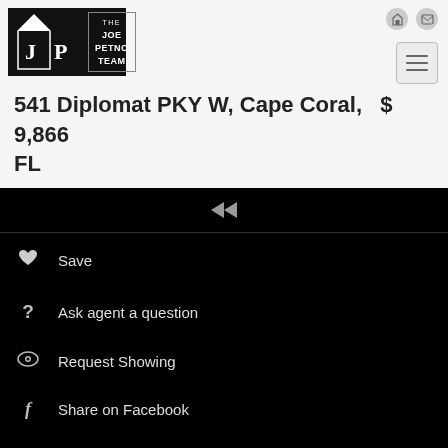[Figure (logo): The Joe Petno Team logo — black rectangle with JP letters and bordered text box]
541 Diplomat PKY W, Cape Coral, FL   $ 9,866
[Figure (screenshot): Black navigation panel with rewind icon, Save, Ask agent a question, Request Showing, Share on Facebook menu items]